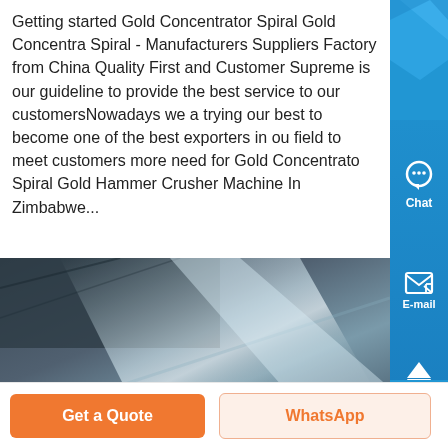Getting started Gold Concentrator Spiral Gold Concentrator Spiral - Manufacturers Suppliers Factory from China Quality First and Customer Supreme is our guideline to provide the best service to our customersNowadays we are trying our best to become one of the best exporters in our field to meet customers more need for Gold Concentrator Spiral Gold Hammer Crusher Machine In Zimbabwe...
[Figure (photo): Close-up photo of a dark metallic surface, likely a gold concentrator spiral machine component, showing diagonal ridges or edges with light reflecting off the surface.]